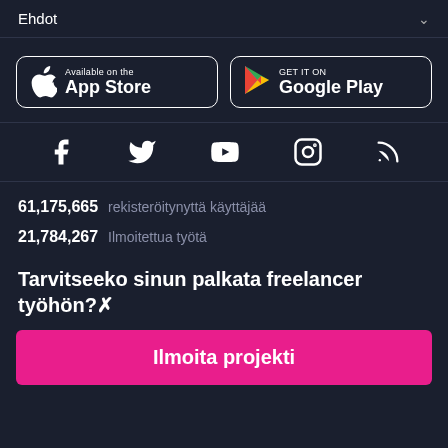Ehdot
[Figure (screenshot): App Store and Google Play download buttons]
[Figure (infographic): Social media icons: Facebook, Twitter, YouTube, Instagram, RSS]
61,175,665 rekisteröitynyttä käyttäjää
21,784,267 Ilmoitettua työtä
Tarvitseeko sinun palkata freelancer työhön?
Ilmoita projekti